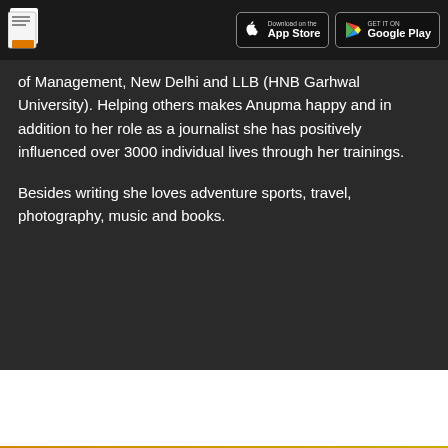App Store / Google Play header bar
of Management, New Delhi and LLB (HNB Garhwal University). Helping others makes Anupma happy and in addition to her role as a journalist she has positively influenced over 3000 individual lives through her trainings.

Besides writing she loves adventure sports, travel, photography, music and books.